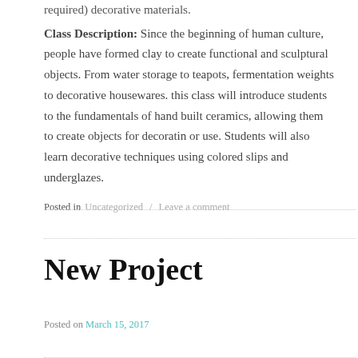required) decorative materials.
Class Description: Since the beginning of human culture, people have formed clay to create functional and sculptural objects.  From water storage to teapots, fermentation weights to decorative housewares. this class will introduce students to the fundamentals of hand built ceramics, allowing them to create objects for decoratin or use.  Students will also learn decorative techniques using colored slips and underglazes.
Posted in Uncategorized / Leave a comment
New Project
Posted on March 15, 2017